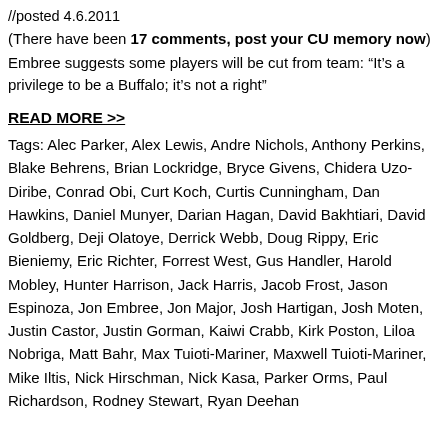//posted 4.6.2011
(There have been 17 comments, post your CU memory now)
Embree suggests some players will be cut from team: “It’s a privilege to be a Buffalo; it’s not a right”
READ MORE >>
Tags: Alec Parker, Alex Lewis, Andre Nichols, Anthony Perkins, Blake Behrens, Brian Lockridge, Bryce Givens, Chidera Uzo-Diribe, Conrad Obi, Curt Koch, Curtis Cunningham, Dan Hawkins, Daniel Munyer, Darian Hagan, David Bakhtiari, David Goldberg, Deji Olatoye, Derrick Webb, Doug Rippy, Eric Bieniemy, Eric Richter, Forrest West, Gus Handler, Harold Mobley, Hunter Harrison, Jack Harris, Jacob Frost, Jason Espinoza, Jon Embree, Jon Major, Josh Hartigan, Josh Moten, Justin Castor, Justin Gorman, Kaiwi Crabb, Kirk Poston, Liloa Nobriga, Matt Bahr, Max Tuioti-Mariner, Maxwell Tuioti-Mariner, Mike Iltis, Nick Hirschman, Nick Kasa, Parker Orms, Paul Richardson, Rodney Stewart, Ryan Deehan